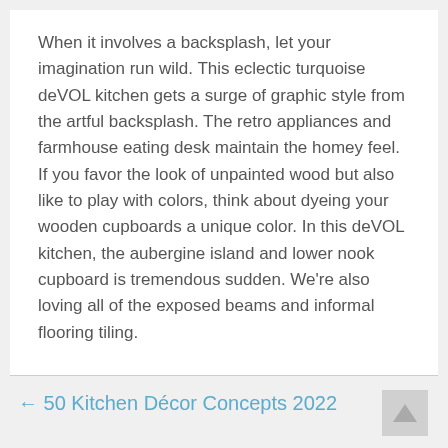When it involves a backsplash, let your imagination run wild. This eclectic turquoise deVOL kitchen gets a surge of graphic style from the artful backsplash. The retro appliances and farmhouse eating desk maintain the homey feel. If you favor the look of unpainted wood but also like to play with colors, think about dyeing your wooden cupboards a unique color. In this deVOL kitchen, the aubergine island and lower nook cupboard is tremendous sudden. We're also loving all of the exposed beams and informal flooring tiling.
← 50 Kitchen Décor Concepts 2022